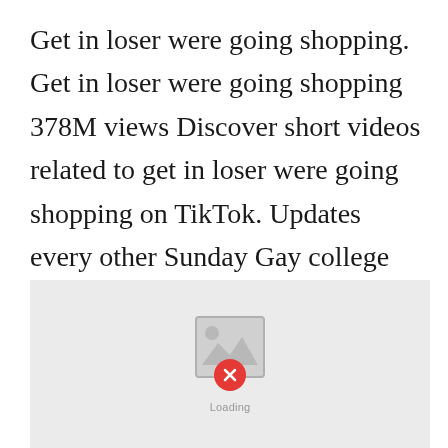Get in loser were going shopping. Get in loser were going shopping 378M views Discover short videos related to get in loser were going shopping on TikTok. Updates every other Sunday Gay college student falls in love with an idiot. Log In Sign Up. Get in loser were going shopping.
[Figure (other): Broken image placeholder with grey background, a broken image icon, and a red X error badge. Partial text 'Loading' visible at bottom.]